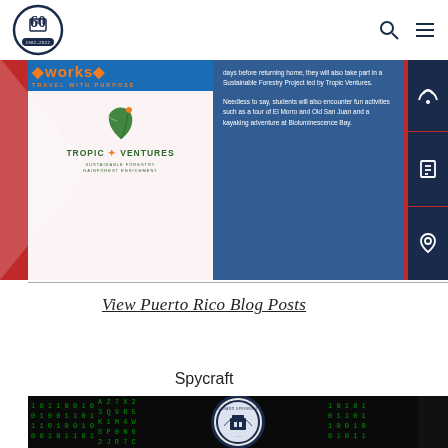60th anniversary school logo with search and menu icons
[Figure (photo): Banner image showing iWorks/Travel with Purpose and Tropic Ventures sustainable forestry logos on red background (Puerto Rico flag colors), with blue overlay text panel describing student activities including Sustainable Forestry Project, El Morro tour, Old San Juan tour, and kayaking at Bioluminescence Bay]
days before returning home, they will also take part in a Sustainable Forestry Project led by Tropic Ventures.

Needless to say, students will also encounter fun activities such as a tour of El Morro and Old San Juan and a kayaking adventure at Bioluminescence Bay.
View Puerto Rico Blog Posts
Spycraft
[Figure (photo): Spycraft banner image showing green matrix-style digital code on dark background with Colorado Springs School circular seal/crest in the center]